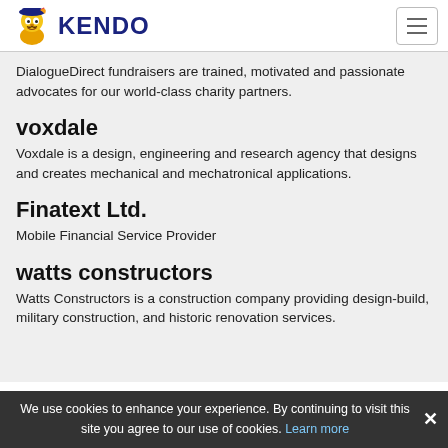KENDO
DialogueDirect fundraisers are trained, motivated and passionate advocates for our world-class charity partners.
voxdale
Voxdale is a design, engineering and research agency that designs and creates mechanical and mechatronical applications.
Finatext Ltd.
Mobile Financial Service Provider
watts constructors
Watts Constructors is a construction company providing design-build, military construction, and historic renovation services.
We use cookies to enhance your experience. By continuing to visit this site you agree to our use of cookies. Learn more